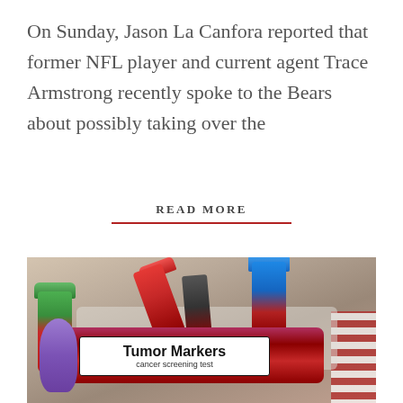On Sunday, Jason La Canfora reported that former NFL player and current agent Trace Armstrong recently spoke to the Bears about possibly taking over the
READ MORE
[Figure (photo): Photo of blood collection tubes including a labeled tube reading 'Tumor Markers cancer screening test' with a purple cap, alongside red, blue, and green capped tubes in the background.]